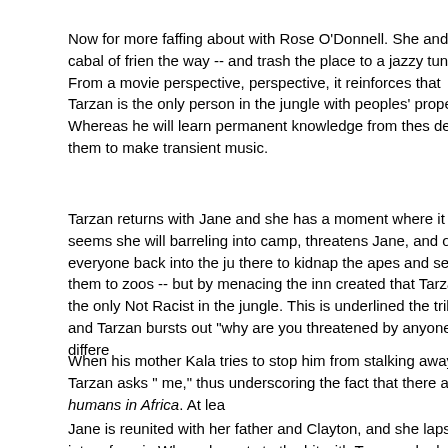Now for more faffing about with Rose O'Donnell. She and a cabal of friends dance the way -- and trash the place to a jazzy tune. From a movie perspective, from a narrative perspective, it reinforces that Tarzan is the only person in the jungle with no respect for other peoples' property. Whereas he will learn permanent knowledge from these people, yet he will destroy them to make transient music.
Tarzan returns with Jane and she has a moment where it seems she will stay. Then Clayton, barreling into camp, threatens Jane, and orders everyone back into the jungle -- he's actually there to kidnap the apes and sell them to zoos -- but by menacing the innocent, the film has created that Tarzan is the only Not Racist in the jungle. This is underlined when he goes to the tribe and Tarzan bursts out "why are you threatened by anyone different from you?"
When his mother Kala tries to stop him from stalking away, Tarzan asks "where do I belong with me," thus underscoring the fact that there are no humans in Africa. At lea
Jane is reunited with her father and Clayton, and she lapses into a frenzied retelling of events. When she gets to the bit with Tarzan, she loses her train of thought and b This does not strike me as overly strong characterization. When she draws a picture of her attraction and asks if she and the blackboard would like a moment alone, it underscores that Jane... doesn't seem to know what she wants out of life does not, or not as well as I'd like. If only they'd spent more time on Jane